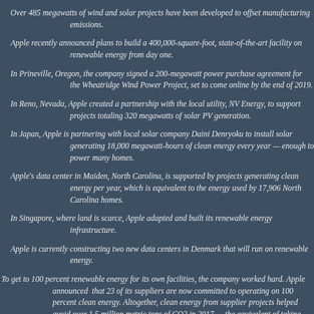Over 485 megawatts of wind and solar projects have been developed to offset manufacturing emissions.
Apple recently announced plans to build a 400,000-square-foot, state-of-the-art facility on renewable energy from day one.
In Prineville, Oregon, the company signed a 200-megawatt power purchase agreement for the Wheatridge Wind Power Project, set to come online by the end of 2019.
In Reno, Nevada, Apple created a partnership with the local utility, NV Energy, to support projects totaling 320 megawatts of solar PV generation.
In Japan, Apple is partnering with local solar company Daini Denryoku to install solar generating 18,000 megawatt-hours of clean energy every year — enough to power many homes.
Apple's data center in Maiden, North Carolina, is supported by projects generating clean energy per year, which is equivalent to the energy used by 17,906 North Carolina homes.
In Singapore, where land is scarce, Apple adapted and built its renewable energy infrastructure.
Apple is currently constructing two new data centers in Denmark that will run on renewable energy.
To get to 100 percent renewable energy for its own facilities, the company worked hard. Apple announced that 23 of its suppliers are now committed to operating on 100 percent clean energy. Altogether, clean energy from supplier projects helped avoid over 1.5 million metric tons of CO2 in 2017 — the equivalent of taking more than 300,000 cars off the road. In addition, Apple's Clean Energy Portal, an online platform that Apple developed to help suppliers find clean energy solutions in regions around the world.
New supplier commitments include: